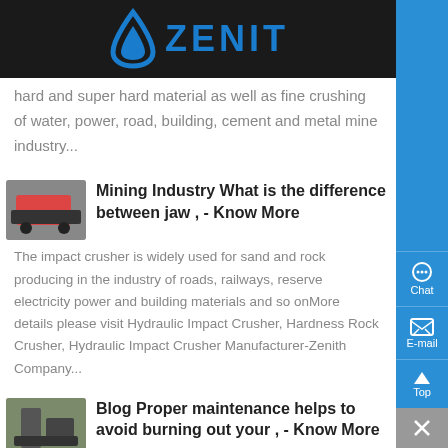ZENIT
hard and super hard material as well as fine crushing of water, power, road, building, cement and metal mine industry...
[Figure (photo): Thumbnail image of mining/crushing machinery]
Mining Industry What is the difference between jaw , - Know More
The impact crusher is widely used for sand and rock producing in the industry of roads, railways, reserve electricity power and building materials and so onMore details please visit Hydraulic Impact Crusher, Hardness Rock Crusher, Hydraulic Impact Crusher Manufacturer-Zenith Company...
[Figure (photo): Thumbnail image of industrial equipment/crusher]
Blog Proper maintenance helps to avoid burning out your , - Know More